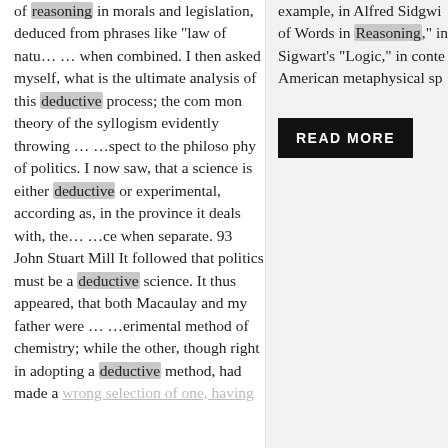of reasoning in morals and legislation, deduced from phrases like "law of natu... ... when combined. I then asked myself, what is the ultimate analysis of this deductive process; the com mon theory of the syllogism evidently throwing ... ...spect to the philoso phy of politics. I now saw, that a science is either deductive or experimental, according as, in the province it deals with, the... ...ce when separate. 93 John Stuart Mill It followed that politics must be a deductive science. It thus appeared, that both Macaulay and my father were ... ...erimental method of chemistry; while the other, though right in adopting a deductive method, had made a wrong selection of one, having
example, in Alfred Sidgwi of Words in Reasoning," in Sigwart's "Logic," in conte American metaphysical sp
READ MORE